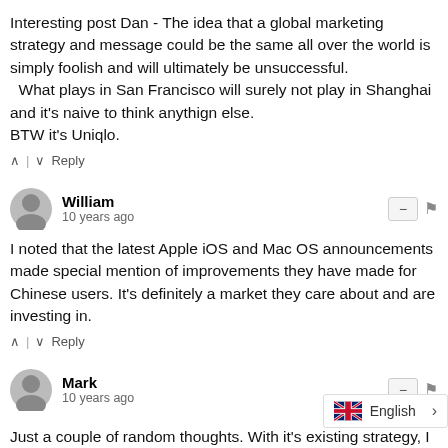Interesting post Dan - The idea that a global marketing strategy and message could be the same all over the world is simply foolish and will ultimately be unsuccessful.  What plays in San Francisco will surely not play in Shanghai and it's naive to think anythign else. BTW it's Uniqlo.
^ | v Reply
William
10 years ago
I noted that the latest Apple iOS and Mac OS announcements made special mention of improvements they have made for Chinese users. It's definitely a market they care about and are investing in.
^ | v Reply
Mark
10 years ago
Just a couple of random thoughts. With it's existing strategy, I don't think the GAP will every be successful in China in China. Here's why.
- The GAP stores I have been to in